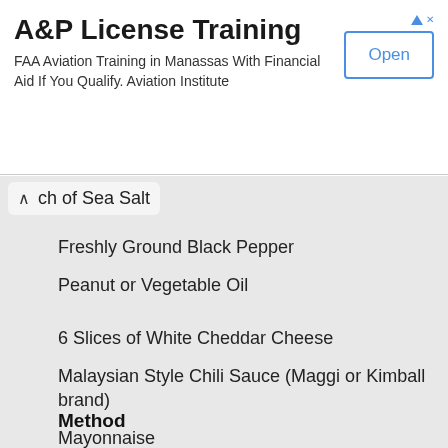[Figure (screenshot): Advertisement banner for A&P License Training with Open button]
ch of Sea Salt
Freshly Ground Black Pepper
Peanut or Vegetable Oil
6 Slices of White Cheddar Cheese
Malaysian Style Chili Sauce (Maggi or Kimball brand)
Mayonnaise
6 Sesame Seed Hamburger Buns
Lettuce leaves, washed and dried
Cucumber, thinly sliced
Method